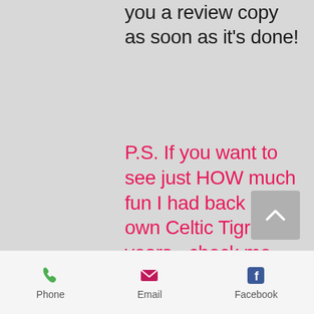you a review copy as soon as it's done!
P.S. If you want to see just HOW much fun I had back in my own Celtic Tigress years - check me out in bed with British Popstars - Take That! Read the full story here....
[Figure (screenshot): Mobile website bottom navigation bar with Phone, Email, and Facebook icons]